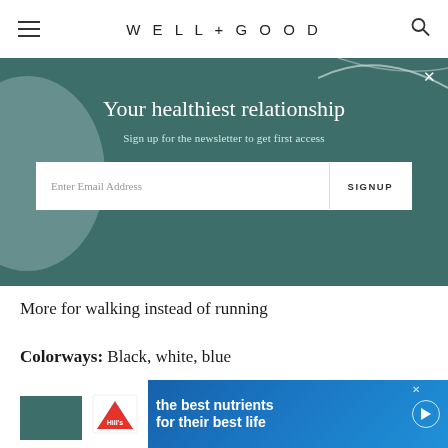WELL+GOOD
[Figure (screenshot): Teal newsletter signup modal with title 'Your healthiest relationship', subtitle 'Sign up for the newsletter to get first access', email input field, and SIGNUP button]
More for walking instead of running
Colorways: Black, white, blue
[Figure (screenshot): SHOP NOW teal button and X close button]
[Figure (screenshot): Hill's Pet Nutrition advertisement: 'the best nutrients for their best life']